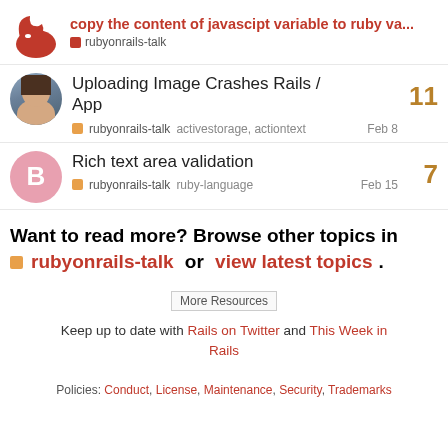copy the content of javascipt variable to ruby va...
rubyonrails-talk
Uploading Image Crashes Rails / App — rubyonrails-talk  activestorage, actiontext  Feb 8  — replies: 11
Rich text area validation — rubyonrails-talk  ruby-language  Feb 15  — replies: 7
Want to read more? Browse other topics in rubyonrails-talk or view latest topics.
[Figure (other): More Resources banner image]
Keep up to date with Rails on Twitter and This Week in Rails
Policies: Conduct, License, Maintenance, Security, Trademarks